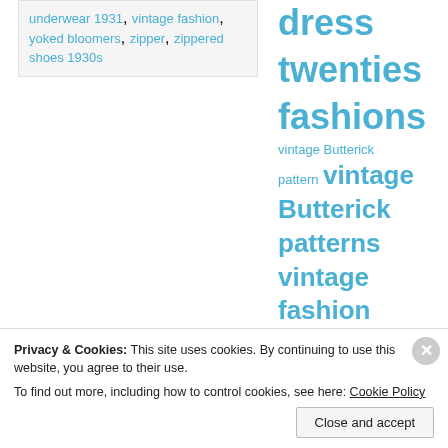underwear 1931, vintage fashion, yoked bloomers, zipper, zippered shoes 1930s
dress twenties fashions vintage Butterick pattern vintage Butterick patterns vintage fashion vintage hat pattern vintage patterns vintage pattern wikia Vionnet Woman's Home Companion
Privacy & Cookies: This site uses cookies. By continuing to use this website, you agree to their use. To find out more, including how to control cookies, see here: Cookie Policy
Close and accept